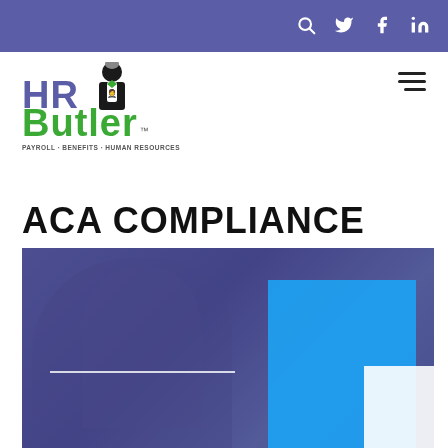Navigation bar with search, Twitter, Facebook, LinkedIn icons
[Figure (logo): HR Butler logo with butler figure, tagline: PAYROLL · BENEFITS · HUMAN RESOURCES]
[Figure (illustration): Hamburger/menu icon (three horizontal lines)]
ACA COMPLIANCE
[Figure (photo): Hero image with purple/blue overlay showing a person, a white horizontal line, a bright blue rectangle and a white rectangle in the lower right corner]